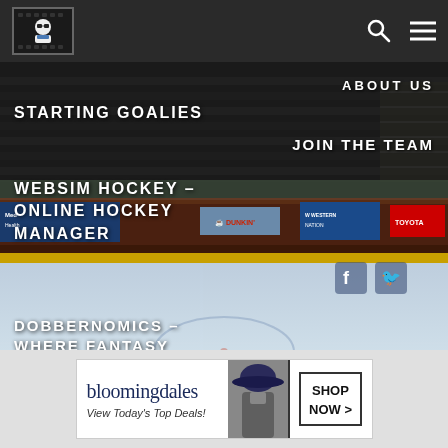Dobber Hockey - navigation header with logo, search, menu
[Figure (screenshot): Hockey rink background image showing arena seating, glass boards, ice surface with Dunkin, Western Nation, Toyota ad banners visible]
ABOUT US
STARTING GOALIES
JOIN THE TEAM
WEBSIM HOCKEY – ONLINE HOCKEY MANAGER
DOBBERNOMICS – WHERE FANTASY HOCKEY MEETS THE STOCK MARKET
[Figure (illustration): Green triangle/arrow logo (DobberHockey brand mark)]
[Figure (illustration): Bloomingdale's advertisement banner: 'bloomingdales View Today's Top Deals! SHOP NOW >']